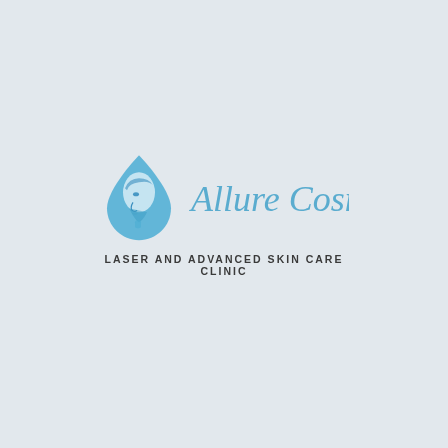[Figure (logo): Allure Cosmedic logo: a blue teardrop/leaf shape containing a woman's face profile silhouette in blue tones, with cursive text 'Allure Cosmedic' to the right and 'LASER AND ADVANCED SKIN CARE CLINIC' below in bold spaced capitals]